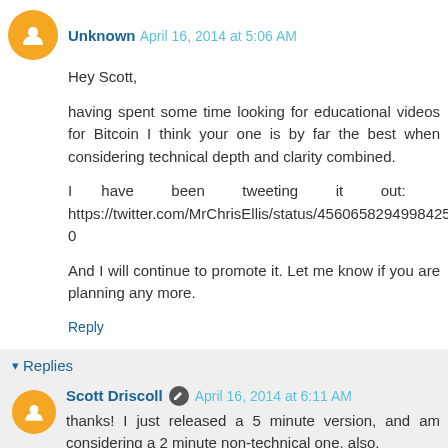Unknown April 16, 2014 at 5:06 AM
Hey Scott,

having spent some time looking for educational videos for Bitcoin I think your one is by far the best when considering technical depth and clarity combined.

I have been tweeting it out: https://twitter.com/MrChrisEllis/status/45606582949984256 0

And I will continue to promote it. Let me know if you are planning any more.
Reply
Replies
Scott Driscoll April 16, 2014 at 6:11 AM
thanks! I just released a 5 minute version, and am considering a 2 minute non-technical one, also.